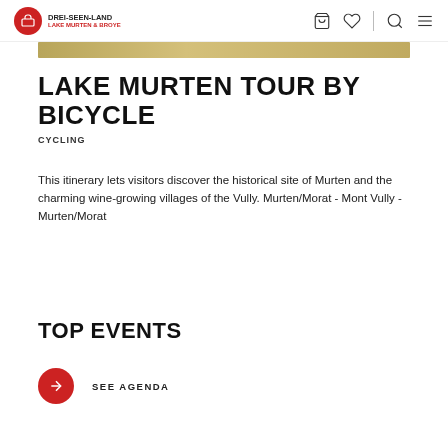DREI-SEEN-LAND LAKE MURTEN & BROYE
[Figure (illustration): Gold/tan decorative horizontal banner bar]
LAKE MURTEN TOUR BY BICYCLE
CYCLING
This itinerary lets visitors discover the historical site of Murten and the charming wine-growing villages of the Vully. Murten/Morat - Mont Vully - Murten/Morat
TOP EVENTS
SEE AGENDA